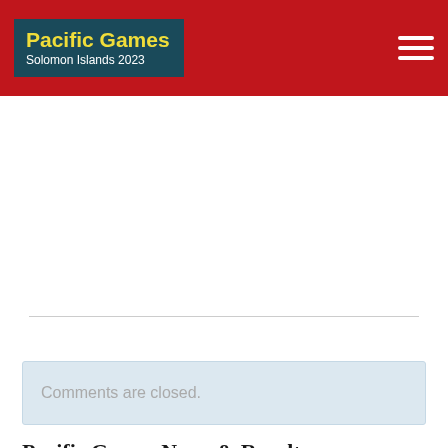Pacific Games Solomon Islands 2023
Comments are closed.
Pacific Games News & Results